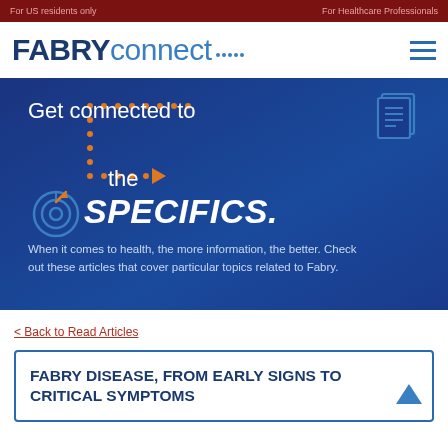For US residents only | For Healthcare Professionals
[Figure (logo): FABRY connect logo with navy FABRY text and blue connect text with decorative dots]
[Figure (infographic): Blue banner with text 'Get connected to the SPECIFICS.' with dotted bracket graphic, target icon, and document icon. Body text: When it comes to health, the more information, the better. Check out these articles that cover particular topics related to Fabry.]
< Back to Read Articles
FABRY DISEASE, FROM EARLY SIGNS TO CRITICAL SYMPTOMS